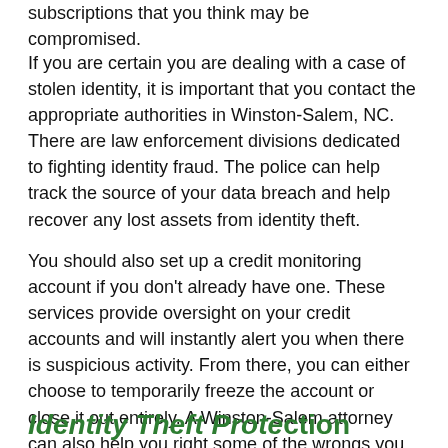subscriptions that you think may be compromised.
If you are certain you are dealing with a case of stolen identity, it is important that you contact the appropriate authorities in Winston-Salem, NC. There are law enforcement divisions dedicated to fighting identity fraud. The police can help track the source of your data breach and help recover any lost assets from identity theft.
You should also set up a credit monitoring account if you don't already have one. These services provide oversight on your credit accounts and will instantly alert you when there is suspicious activity. From there, you can either choose to temporarily freeze the account or close it out entirely. A Winston-Salem attorney can also help you right some of the wrongs you encounter along the way, especially when faced with the legal repercussions of someone else's actions done in your name.
Identity Theft Protection